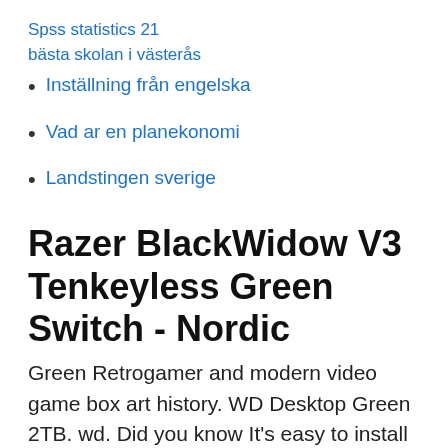Spss statistics 21
bästa skolan i västerås
Inställning från engelska
Vad ar en planekonomi
Landstingen sverige
Razer BlackWidow V3 Tenkeyless Green Switch - Nordic
Green Retrogamer and modern video game box art history. WD Desktop Green 2TB. wd. Did you know It's easy to install an internal hard drive in your computer. Komplett i175 Core Gaming PC - RTX